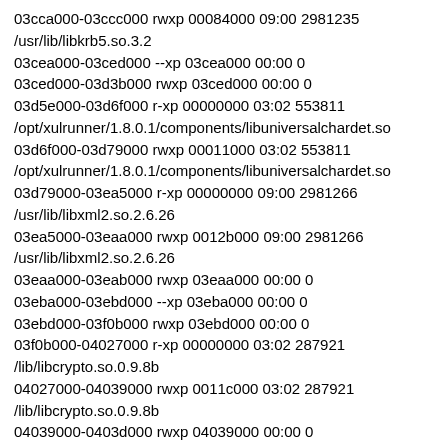03cca000-03ccc000 rwxp 00084000 09:00 2981235
/usr/lib/libkrb5.so.3.2
03cea000-03ced000 --xp 03cea000 00:00 0
03ced000-03d3b000 rwxp 03ced000 00:00 0
03d5e000-03d6f000 r-xp 00000000 03:02 553811
/opt/xulrunner/1.8.0.1/components/libuniversalchardet.so
03d6f000-03d79000 rwxp 00011000 03:02 553811
/opt/xulrunner/1.8.0.1/components/libuniversalchardet.so
03d79000-03ea5000 r-xp 00000000 09:00 2981266
/usr/lib/libxml2.so.2.6.26
03ea5000-03eaa000 rwxp 0012b000 09:00 2981266
/usr/lib/libxml2.so.2.6.26
03eaa000-03eab000 rwxp 03eaa000 00:00 0
03eba000-03ebd000 --xp 03eba000 00:00 0
03ebd000-03f0b000 rwxp 03ebd000 00:00 0
03f0b000-04027000 r-xp 00000000 03:02 287921
/lib/libcrypto.so.0.9.8b
04027000-04039000 rwxp 0011c000 03:02 287921
/lib/libcrypto.so.0.9.8b
04039000-0403d000 rwxp 04039000 00:00 0
0403d000-04062000 r-xp 00000000 09:00 2981234
/usr/lib/libk5crypto.so.3.0
04062000-04063000 rwxp 00025000 09:00 2981234
/usr/lib/libk5crypto.so.3.0
0409b000-0409e000 --xp 0409b000 00:00 0